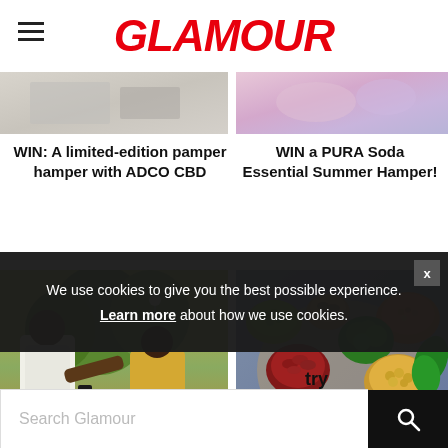GLAMOUR
[Figure (photo): Partial photo strip on the left side - blurred/partial product image]
[Figure (photo): Partial photo strip on the right side - colorful blurred image]
WIN: A limited-edition pamper hamper with ADCO CBD
WIN a PURA Soda Essential Summer Hamper!
[Figure (photo): People outdoors, one person in white shirt holding Jack Daniel's bottle, social gathering scene]
[Figure (photo): Overhead view of various foods in bowls: green peas, red kidney beans, chickpeas, broccoli, lentils, nuts, eggs, herbs - healthy ingredients spread]
We use cookies to give you the best possible experience. Learn more about how we use cookies.
try
Search Glamour